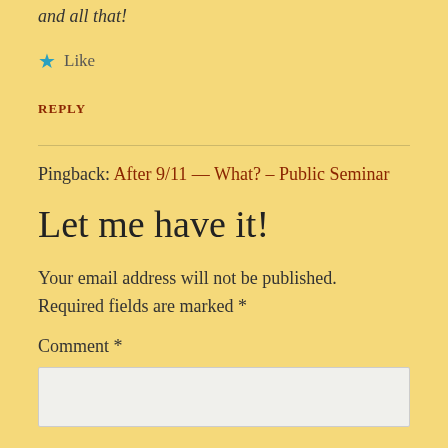and all that!
★ Like
REPLY
Pingback: After 9/11 — What? – Public Seminar
Let me have it!
Your email address will not be published. Required fields are marked *
Comment *